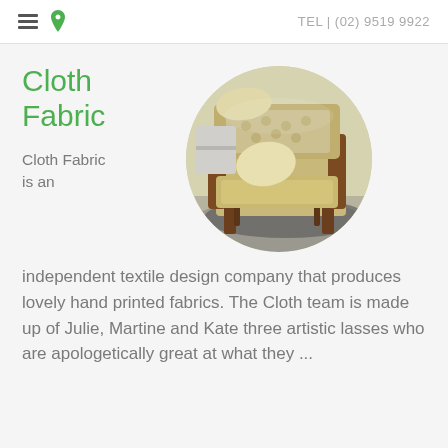TEL | (02) 9519 9922
Cloth Fabric
Cloth Fabric is an
[Figure (photo): Circular cropped photo of a wooden armchair with patterned upholstery and cushions on a rug]
independent textile design company that produces lovely hand printed fabrics. The Cloth team is made up of Julie, Martine and Kate three artistic lasses who are apologetically great at what they ...